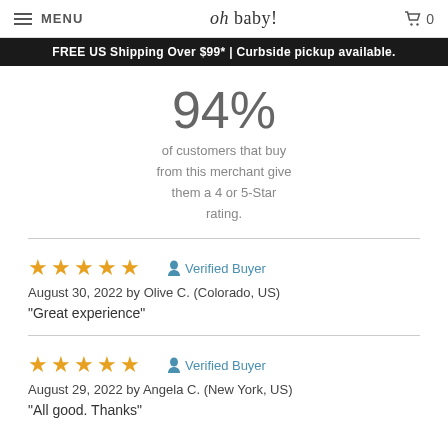MENU  oh baby!  0
FREE US Shipping Over $99* | Curbside pickup available.
94%
of customers that buy from this merchant give them a 4 or 5-Star rating.
★★★★★  Verified Buyer
August 30, 2022 by Olive C. (Colorado, US)
"Great experience"
★★★★★  Verified Buyer
August 29, 2022 by Angela C. (New York, US)
"All good. Thanks"